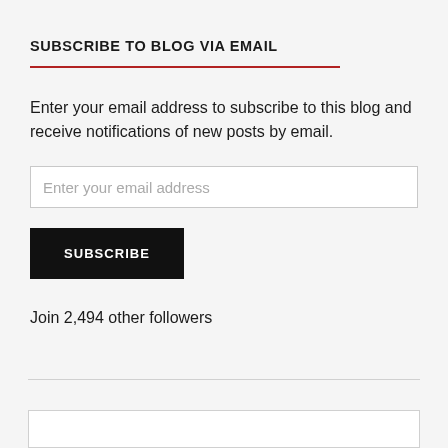SUBSCRIBE TO BLOG VIA EMAIL
Enter your email address to subscribe to this blog and receive notifications of new posts by email.
Join 2,494 other followers